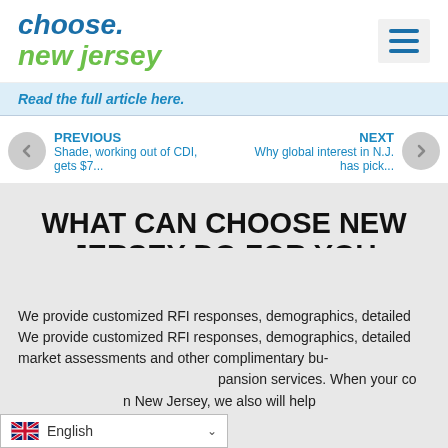choose new jersey (logo with hamburger menu)
Read the full article here.
PREVIOUS
Shade, working out of CDI, gets $7...
NEXT
Why global interest in N.J. has pick...
WHAT CAN CHOOSE NEW JERSEY DO FOR YOU
Relocation & Expansion Services
We provide customized RFI responses, demographics, detailed market assessments and other complimentary business relocation and expansion services. When your company is considering a move to New Jersey, we also will help